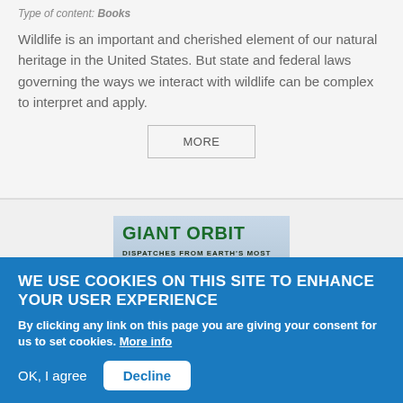Type of content: Books
Wildlife is an important and cherished element of our natural heritage in the United States. But state and federal laws governing the ways we interact with wildlife can be complex to interpret and apply.
MORE
[Figure (illustration): Book cover showing 'GIANT ORBIT: Dispatches from Earth's Most Vital Frontlines' with green bold text and a nature/forest background in blue-grey tones]
WE USE COOKIES ON THIS SITE TO ENHANCE YOUR USER EXPERIENCE
By clicking any link on this page you are giving your consent for us to set cookies. More info
OK, I agree
Decline